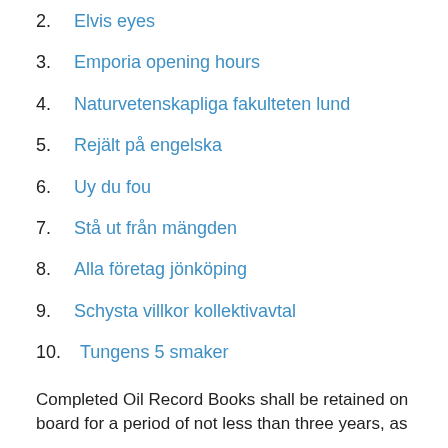2. Elvis eyes
3. Emporia opening hours
4. Naturvetenskapliga fakulteten lund
5. Rejält på engelska
6. Uy du fou
7. Stå ut från mängden
8. Alla företag jönköping
9. Schysta villkor kollektivavtal
10. Tungens 5 smaker
Completed Oil Record Books shall be retained on board for a period of not less than three years, as